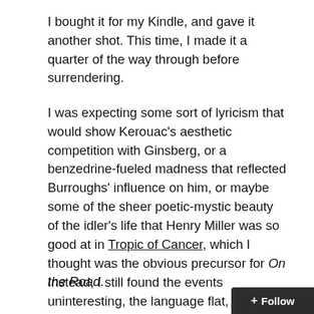I bought it for my Kindle, and gave it another shot. This time, I made it a quarter of the way through before surrendering.
I was expecting some sort of lyricism that would show Kerouac's aesthetic competition with Ginsberg, or a benzedrine-fueled madness that reflected Burroughs' influence on him, or maybe some of the sheer poetic-mystic beauty of the idler's life that Henry Miller was so good at in Tropic of Cancer, which I thought was the obvious precursor for On the Road.
Instead, I still found the events uninteresting, the language flat, the characters (still) not having have much by way of character, and no serious observations about America or its crippled, postwar ideals. I'm still incredulous that this book was a monster hit for half a century. I know the Eisenhower years were boring